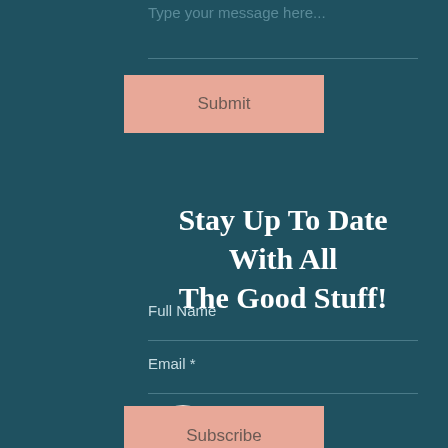Type your message here...
Submit
Stay Up To Date With All The Good Stuff!
Full Name
Email *
Subscribe